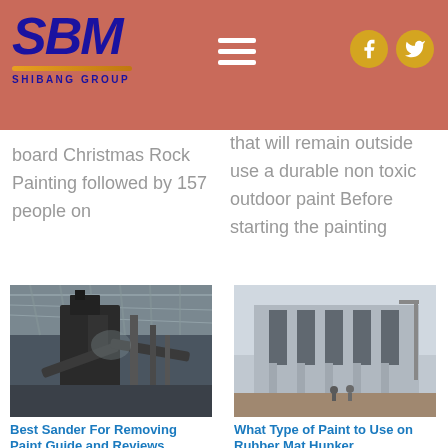[Figure (logo): SBM Shibang Group logo with blue stylized letters and yellow underline on salmon/red background]
[Figure (infographic): Hamburger menu icon (three white horizontal bars) on salmon background]
[Figure (infographic): Facebook and Twitter social media icons as yellow circles on salmon background]
board Christmas Rock Painting followed by 157 people on
that will remain outside use a durable non toxic outdoor paint Before starting the painting
[Figure (photo): Industrial facility interior with machinery, conveyor equipment and steel roof structure]
[Figure (photo): Modern industrial or commercial building exterior with grey facade and columns]
Best Sander For Removing Paint Guide and Reviews
What Type of Paint to Use on Rubber Mat Hunker